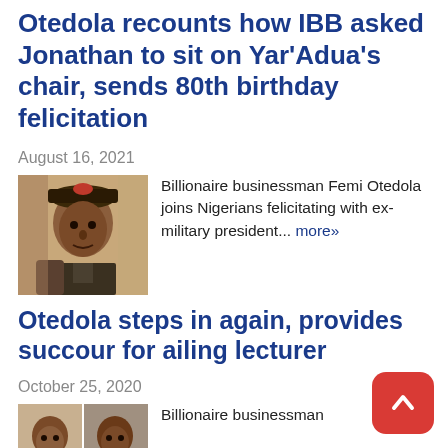Otedola recounts how IBB asked Jonathan to sit on Yar'Adua's chair, sends 80th birthday felicitation
August 16, 2021
[Figure (photo): Photo of a man in military uniform]
Billionaire businessman Femi Otedola joins Nigerians felicitating with ex-military president... more»
Otedola steps in again, provides succour for ailing lecturer
October 25, 2020
[Figure (photo): Photo thumbnails of two people]
Billionaire businessman